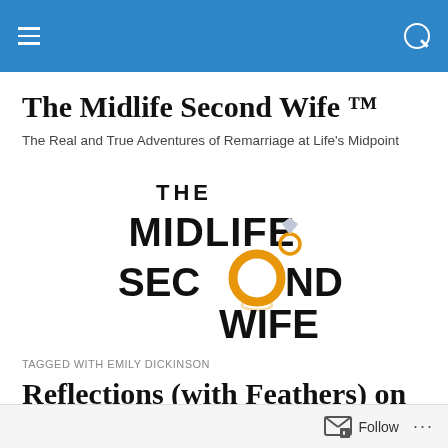Navigation bar with hamburger menu and search icon
The Midlife Second Wife ™
The Real and True Adventures of Remarriage at Life's Midpoint
[Figure (logo): The Midlife Second Wife logo with stylized text and a gold ring replacing the letter O in SECOND, with a diamond ring above]
TAGGED WITH EMILY DICKINSON
Reflections (with Feathers) on my Valentine's don B…
Follow